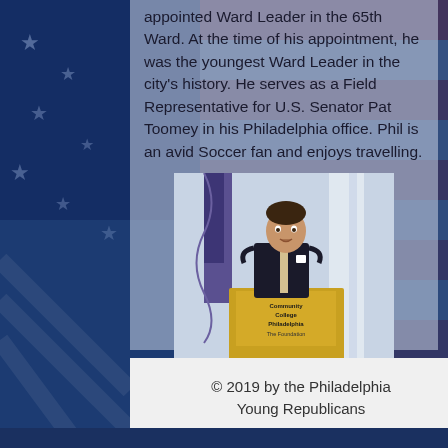appointed Ward Leader in the 65th Ward. At the time of his appointment, he was the youngest Ward Leader in the city's history. He serves as a Field Representative for U.S. Senator Pat Toomey in his Philadelphia office. Phil is an avid Soccer fan and enjoys travelling.
[Figure (photo): A man in a dark suit speaking at a podium with a yellow Community College of Philadelphia sign, with a blue/purple flag in the background.]
© 2019 by the Philadelphia Young Republicans